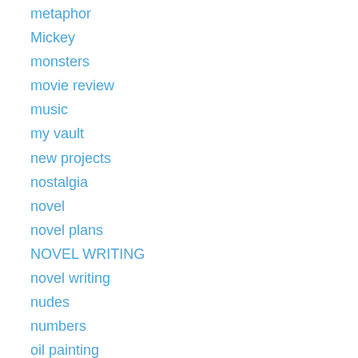metaphor
Mickey
monsters
movie review
music
my vault
new projects
nostalgia
novel
novel plans
NOVEL WRITING
novel writing
nudes
numbers
oil painting
old art
old books
oldies
Paffooney
Paffooney cartoony